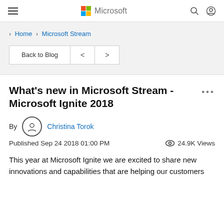Microsoft
> Home > Microsoft Stream
Back to Blog < >
What's new in Microsoft Stream - Microsoft Ignite 2018
By Christina Torok
Published Sep 24 2018 01:00 PM   24.9K Views
This year at Microsoft Ignite we are excited to share new innovations and capabilities that are helping our customers